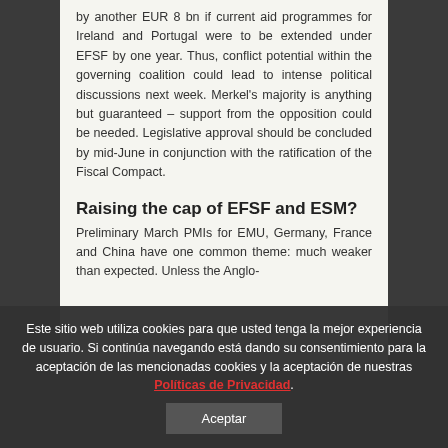by another EUR 8 bn if current aid programmes for Ireland and Portugal were to be extended under EFSF by one year. Thus, conflict potential within the governing coalition could lead to intense political discussions next week. Merkel's majority is anything but guaranteed – support from the opposition could be needed. Legislative approval should be concluded by mid-June in conjunction with the ratification of the Fiscal Compact.
Raising the cap of EFSF and ESM?
Preliminary March PMIs for EMU, Germany, France and China have one common theme: much weaker than expected. Unless the Anglo-
Este sitio web utiliza cookies para que usted tenga la mejor experiencia de usuario. Si continúa navegando está dando su consentimiento para la aceptación de las mencionadas cookies y la aceptación de nuestras Políticas de Privacidad.